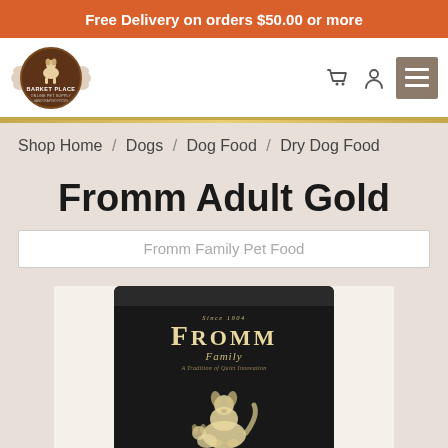Free Delivery on orders $50.00 or more
[Figure (logo): Barket Place pet store logo — circular brown badge with bone shape and dog silhouette, text 'BARKET PLACE']
Shop Home / Dogs / Dog Food / Dry Dog Food
Fromm Adult Gold
Fromm Family Pet Food
[Figure (photo): Black dog food bag with Fromm Family branding, showing gold text logo and illustrated dogs (large dog with small dog beside it) on a dark background]